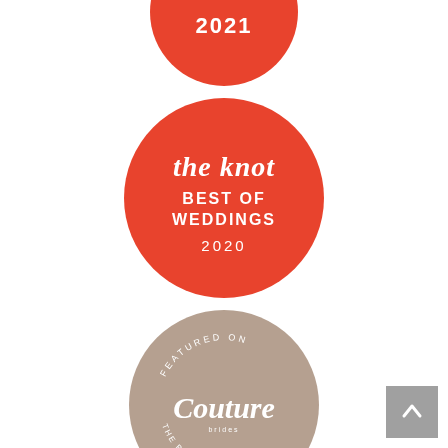[Figure (logo): The Knot Best of Weddings 2021 badge - red circle, partially cropped at top of page]
[Figure (logo): The Knot Best of Weddings 2020 badge - red circle with white text reading 'the knot BEST OF WEDDINGS 2020']
[Figure (logo): Featured on Couture brides The Blog 2018 badge - tan/beige circle with script text]
[Figure (other): Gray scroll-to-top button with upward chevron arrow in bottom right corner]